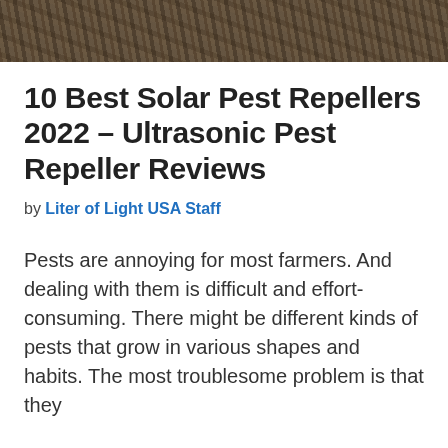[Figure (photo): Photograph strip showing ground/soil texture with rocks, twigs, and dry vegetation debris]
10 Best Solar Pest Repellers 2022 – Ultrasonic Pest Repeller Reviews
by Liter of Light USA Staff
Pests are annoying for most farmers. And dealing with them is difficult and effort-consuming. There might be different kinds of pests that grow in various shapes and habits. The most troublesome problem is that they